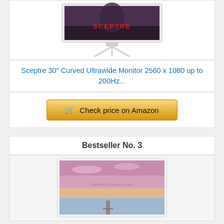[Figure (photo): Sceptre curved ultrawide monitor product photo on white background with SCEPTRE logo on screen]
Sceptre 30" Curved Ultrawide Monitor 2560 x 1080 up to 200Hz...
Check price on Amazon
Bestseller No. 3
[Figure (photo): Samsung Curved Monitor product photo showing sunset/beach scene on screen]